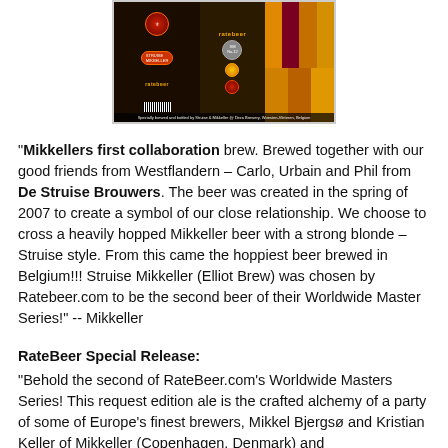[Figure (photo): Beer label for Struise Mikkeller Ratebeer collaboration — dark background with orange/gold/maroon color swatches, ratebeer logo, series badge No.12, brewery logos, and barcode. Caption reads: Specially brewed and bottled by Struise & Mikkeller @ Deca Brewery, Woesten-Vleteren, Belgium]
"Mikkellers first collaboration brew. Brewed together with our good friends from Westflandern – Carlo, Urbain and Phil from De Struise Brouwers. The beer was created in the spring of 2007 to create a symbol of our close relationship. We choose to cross a heavily hopped Mikkeller beer with a strong blonde – Struise style. From this came the hoppiest beer brewed in Belgium!!! Struise Mikkeller (Elliot Brew) was chosen by Ratebeer.com to be the second beer of their Worldwide Master Series!" -- Mikkeller
RateBeer Special Release:
"Behold the second of RateBeer.com's Worldwide Masters Series! This request edition ale is the crafted alchemy of a party of some of Europe's finest brewers, Mikkel Bjergsø and Kristian Keller of Mikkeller (Copenhagen, Denmark) and